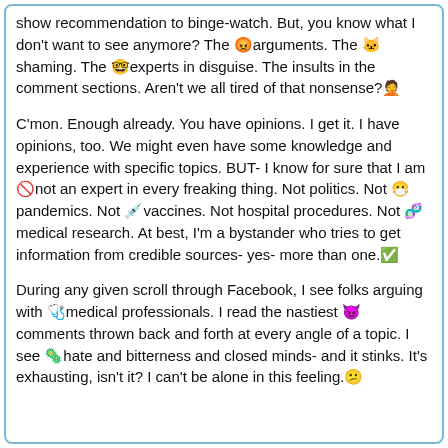show recommendation to binge-watch. But, you know what I don't want to see anymore? The 😡arguments. The 🐱shaming. The 🤓experts in disguise. The insults in the comment sections. Aren't we all tired of that nonsense?🤦
C'mon. Enough already. You have opinions. I get it. I have opinions, too. We might even have some knowledge and experience with specific topics. BUT- I know for sure that I am 🚫not an expert in every freaking thing. Not politics. Not 😷pandemics. Not 💉vaccines. Not hospital procedures. Not 🧬medical research. At best, I'm a bystander who tries to get information from credible sources- yes- more than one.✅
During any given scroll through Facebook, I see folks arguing with 🩺medical professionals. I read the nastiest 😈 comments thrown back and forth at every angle of a topic. I see 🦠hate and bitterness and closed minds- and it stinks. It's exhausting, isn't it? I can't be alone in this feeling.😕